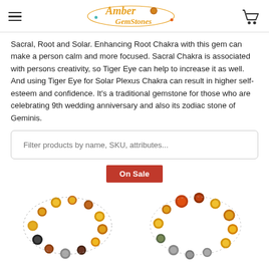Amber Gem Stones logo and navigation
Sacral, Root and Solar. Enhancing Root Chakra with this gem can make a person calm and more focused. Sacral Chakra is associated with persons creativity, so Tiger Eye can help to increase it as well. And using Tiger Eye for Solar Plexus Chakra can result in higher self-esteem and confidence. It’s a traditional gemstone for those who are celebrating 9th wedding anniversary and also its zodiac stone of Geminis.
Filter products by name, SKU, attributes...
On Sale
[Figure (photo): Two beaded bracelets made with amber and gemstone beads — tiger eye, red jasper, and labradorite stones.]